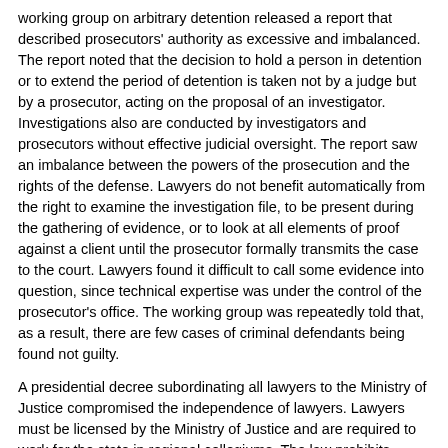working group on arbitrary detention released a report that described prosecutors' authority as excessive and imbalanced. The report noted that the decision to hold a person in detention or to extend the period of detention is taken not by a judge but by a prosecutor, acting on the proposal of an investigator. Investigations also are conducted by investigators and prosecutors without effective judicial oversight. The report saw an imbalance between the powers of the prosecution and the rights of the defense. Lawyers do not benefit automatically from the right to examine the investigation file, to be present during the gathering of evidence, or to look at all elements of proof against a client until the prosecutor formally transmits the case to the court. Lawyers found it difficult to call some evidence into question, since technical expertise was under the control of the prosecutor's office. The working group was repeatedly told that, as a result, there are few cases of criminal defendants being found not guilty.
A presidential decree subordinating all lawyers to the Ministry of Justice compromised the independence of lawyers. Lawyers must be licensed by the Ministry of Justice and are required to work for the state in regional collegiums. The law prohibits private attorneys from practicing, and lawyers must renew their licenses every five years. Several lawyers have claimed that they were told their licenses would not be renewed because of their activities in defense of NGOs or opposition political parties.
Trial Procedures
The law provides for public trials; however, the courts frequently held trials in judges' offices, which prevented interested observers from attending. Several trials, particularly of political figures, were closed to the public. Judges adjudicate most trials; juries determine innocence or guilt only in the cases of capital offenses, and only if the defendant has been indicted by a